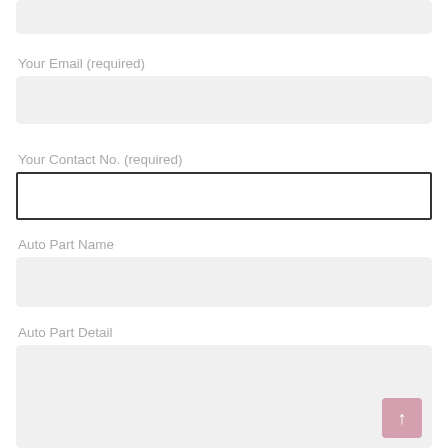[Figure (screenshot): Top partial input field (cropped, light gray background)]
Your Email (required)
[Figure (screenshot): Email input field, light gray background, rounded corners]
Your Contact No. (required)
[Figure (screenshot): Contact number input field with dark border outline, white background]
Auto Part Name
[Figure (screenshot): Auto Part Name input field, light gray background, rounded corners]
Auto Part Detail
[Figure (screenshot): Auto Part Detail textarea, light gray background, rounded corners, with pink scroll-to-top button]